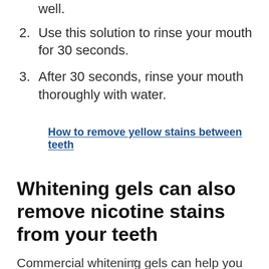well.
2. Use this solution to rinse your mouth for 30 seconds.
3. After 30 seconds, rinse your mouth thoroughly with water.
How to remove yellow stains between teeth
Whitening gels can also remove nicotine stains from your teeth
Commercial whitening gels can help you keep